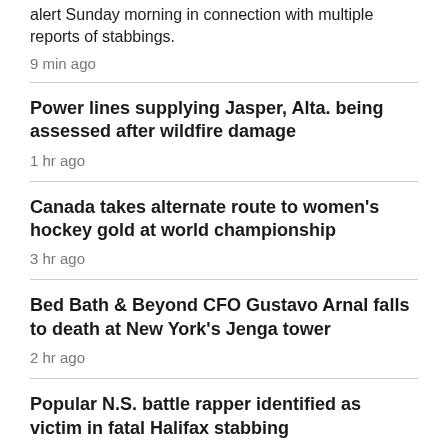alert Sunday morning in connection with multiple reports of stabbings.
9 min ago
Power lines supplying Jasper, Alta. being assessed after wildfire damage
1 hr ago
Canada takes alternate route to women's hockey gold at world championship
3 hr ago
Bed Bath & Beyond CFO Gustavo Arnal falls to death at New York's Jenga tower
2 hr ago
Popular N.S. battle rapper identified as victim in fatal Halifax stabbing